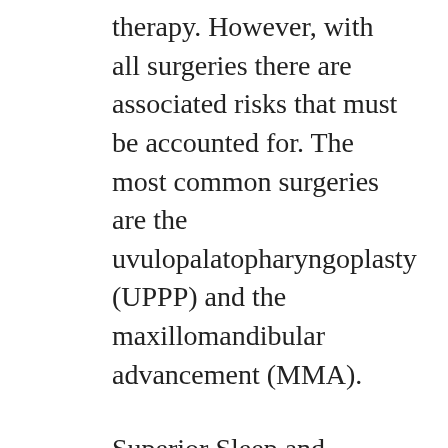therapy. However, with all surgeries there are associated risks that must be accounted for. The most common surgeries are the uvulopalatopharyngoplasty (UPPP) and the maxillomandibular advancement (MMA).
Superior Sleep and Wellness is here to help you determine the most effective means of treatment for your sleep apnea and what will work best for you. Contact us today. The importance of an effective treatment option cannot be understated, as it can dramatically improve your